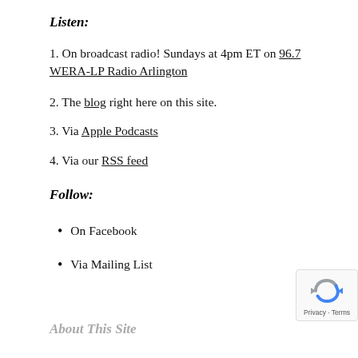Listen:
1. On broadcast radio! Sundays at 4pm ET on 96.7 WERA-LP Radio Arlington
2. The blog right here on this site.
3. Via Apple Podcasts
4. Via our RSS feed
Follow:
On Facebook
Via Mailing List
About This Site